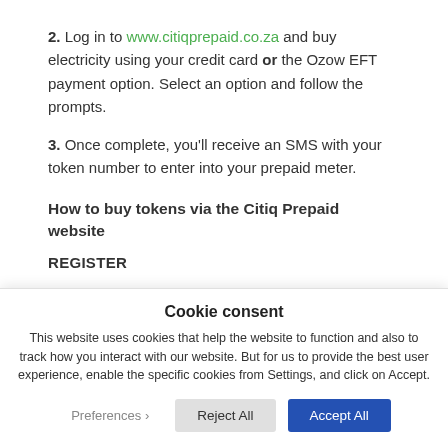2. Log in to www.citiqprepaid.co.za and buy electricity using your credit card or the Ozow EFT payment option. Select an option and follow the prompts.
3. Once complete, you'll receive an SMS with your token number to enter into your prepaid meter.
How to buy tokens via the Citiq Prepaid website
REGISTER
Cookie consent
This website uses cookies that help the website to function and also to track how you interact with our website. But for us to provide the best user experience, enable the specific cookies from Settings, and click on Accept.
Preferences  Reject All  Accept All